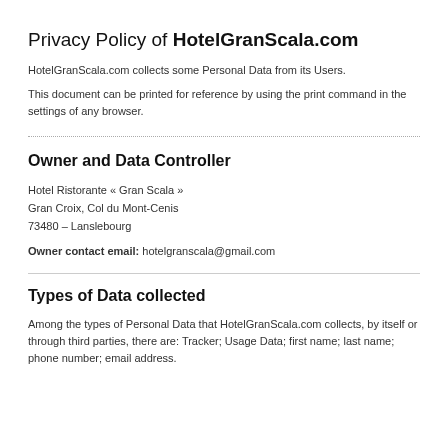Privacy Policy of HotelGranScala.com
HotelGranScala.com collects some Personal Data from its Users.
This document can be printed for reference by using the print command in the settings of any browser.
Owner and Data Controller
Hotel Ristorante « Gran Scala »
Gran Croix, Col du Mont-Cenis
73480 – Lanslebourg
Owner contact email: hotelgranscala@gmail.com
Types of Data collected
Among the types of Personal Data that HotelGranScala.com collects, by itself or through third parties, there are: Tracker; Usage Data; first name; last name; phone number; email address.